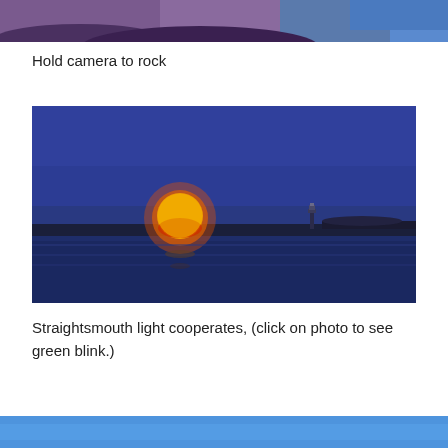[Figure (photo): Partial view of a photo at the top of the page — appears to show a night or twilight sky scene with purple/blue tones]
Hold camera to rock
[Figure (photo): A moonrise scene over water at dusk. A large orange-red full moon sits just above the horizon line on the left. A lighthouse is visible on the right side of the horizon. The sky and water are deep blue.]
Straightsmouth light cooperates, (click on photo to see green blink.)
[Figure (photo): Partial view of a blue-toned photo at the bottom of the page]